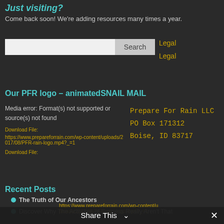Just visiting?
Come back soon! We're adding resources many times a year.
[Figure (screenshot): Search input field with Search button and two Legal links to the right]
Our PFR logo – animatedSNAIL MAIL
Media error: Format(s) not supported or source(s) not found
Download File:
https://www.prepareforrain.com/wp-content/uploads/2017/08/PFR-rain-logo.mp4?_=1
Download File:
https://www.prepareforrain.com/wp-content/uploads/2017/08/PFR-rain-logo.mp4?_=1
Prepare For Rain LLC
PO Box 171312
Boise, ID 83717
Recent Posts
The Truth of Our Ancestors
Discover Why The Activities of Success Really Aren't That
Share This